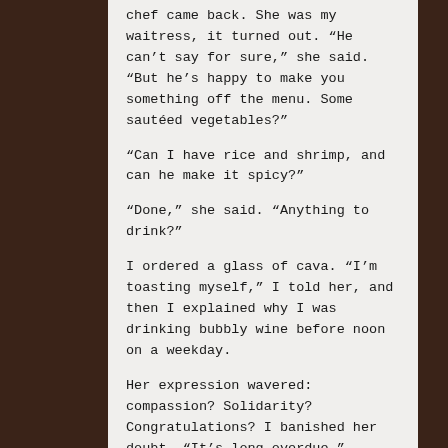chef came back. She was my waitress, it turned out. “He can’t say for sure,” she said. “But he’s happy to make you something off the menu. Some sautéed vegetables?”
“Can I have rice and shrimp, and can he make it spicy?”
“Done,” she said. “Anything to drink?”
I ordered a glass of cava. “I’m toasting myself,” I told her, and then I explained why I was drinking bubbly wine before noon on a weekday.
Her expression wavered: compassion? Solidarity? Congratulations? I banished her doubt. “It’s long overdue.”
She smiled and brought me an enormous glass of pale, bubbly celebration. “I brought you the prosecco instead of the cava,” she told me, and